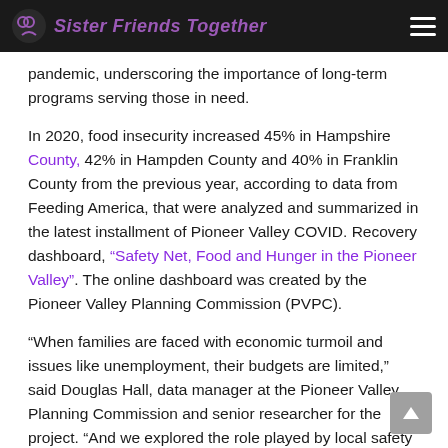Sister Friends Together
pandemic, underscoring the importance of long-term programs serving those in need.
In 2020, food insecurity increased 45% in Hampshire County, 42% in Hampden County and 40% in Franklin County from the previous year, according to data from Feeding America, that were analyzed and summarized in the latest installment of Pioneer Valley COVID. Recovery dashboard, “Safety Net, Food and Hunger in the Pioneer Valley”. The online dashboard was created by the Pioneer Valley Planning Commission (PVPC).
“When families are faced with economic turmoil and issues like unemployment, their budgets are limited,” said Douglas Hall, data manager at the Pioneer Valley Planning Commission and senior researcher for the project. “And we explored the role played by local safety nets and the impact of food insecurity and persistent hunger among many families in the